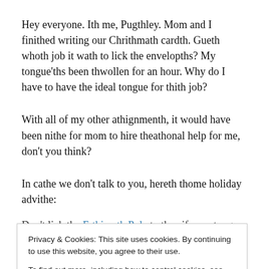Hey everyone. Ith me, Pugthley. Mom and I finithed writing our Chrithmath cardth. Gueth whoth job it wath to lick the envelopths? My tongue'ths been thwollen for an hour. Why do I have to have the ideal tongue for thith job?
With all of my other athignmenth, it would have been nithe for mom to hire theathonal help for me, don't you think?
In cathe we don't talk to you, hereth thome holiday advithe:
Don't lick the Frthinwth Pole to thee if your tongue...
Privacy & Cookies: This site uses cookies. By continuing to use this website, you agree to their use.
To find out more, including how to control cookies, see here: Cookie Policy